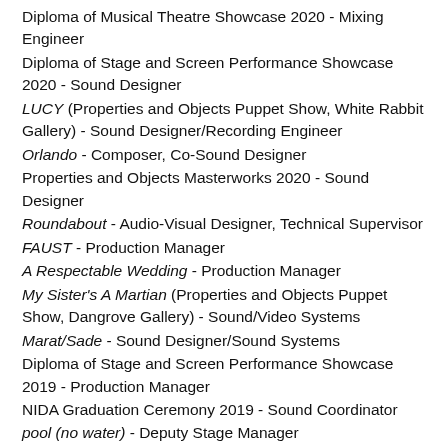Diploma of Musical Theatre Showcase 2020 - Mixing Engineer
Diploma of Stage and Screen Performance Showcase 2020 - Sound Designer
LUCY (Properties and Objects Puppet Show, White Rabbit Gallery) - Sound Designer/Recording Engineer
Orlando - Composer, Co-Sound Designer
Properties and Objects Masterworks 2020 - Sound Designer
Roundabout - Audio-Visual Designer, Technical Supervisor
FAUST - Production Manager
A Respectable Wedding - Production Manager
My Sister's A Martian (Properties and Objects Puppet Show, Dangrove Gallery) - Sound/Video Systems
Marat/Sade - Sound Designer/Sound Systems
Diploma of Stage and Screen Performance Showcase 2019 - Production Manager
NIDA Graduation Ceremony 2019 - Sound Coordinator
pool (no water) - Deputy Stage Manager
Delta Sierra Juliet - Sound/Video Designer
Ab Torn b...A Melancholia Cabaret - Assistant Sta...